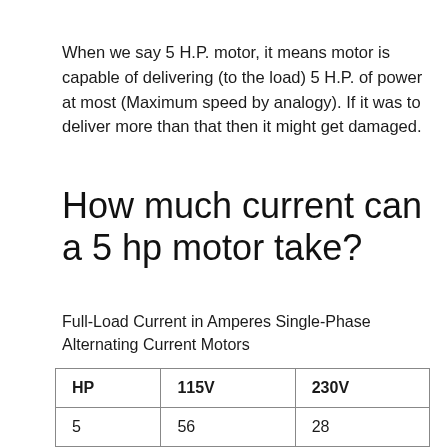When we say 5 H.P. motor, it means motor is capable of delivering (to the load) 5 H.P. of power at most (Maximum speed by analogy). If it was to deliver more than that then it might get damaged.
How much current can a 5 hp motor take?
Full-Load Current in Amperes Single-Phase Alternating Current Motors
| HP | 115V | 230V |
| --- | --- | --- |
| 5 | 56 | 28 |